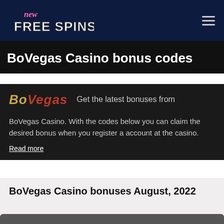new FREE SPINS [logo] [hamburger menu]
BoVegas Casino bonus codes
[Figure (logo): BoVegas casino logo with gold and red text reading BOVEGAS]
Get the latest bonuses from BoVegas Casino. With the codes below you can claim the desired bonus when you register a account at the casino.
Read more
BoVegas Casino bonuses August, 2022